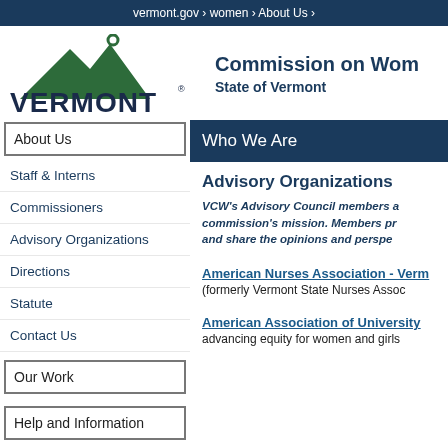vermont.gov › women › About Us ›
[Figure (logo): Vermont state logo with green mountain silhouette and person figure above, with VERMONT text below in dark blue]
Commission on Women
State of Vermont
Who We Are
About Us
Staff & Interns
Commissioners
Advisory Organizations
Directions
Statute
Contact Us
Our Work
Help and Information
Advisory Organizations
VCW's Advisory Council members are organizations committed to the commission's mission. Members provide expertise in their respective fields and share the opinions and perspectives of their constituencies.
American Nurses Association - Verm...
(formerly Vermont State Nurses Assoc...
American Association of University...
advancing equity for women and girls...